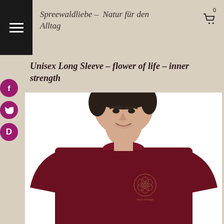Spreewaldliebe – Natur für den Alltag
Unisex Long Sleeve – flower of life – inner strength
[Figure (photo): Man wearing a dark maroon/burgundy long sleeve shirt with a flower of life emblem and 'inner strength' text printed on the chest, photographed from roughly chest-up against a white background.]